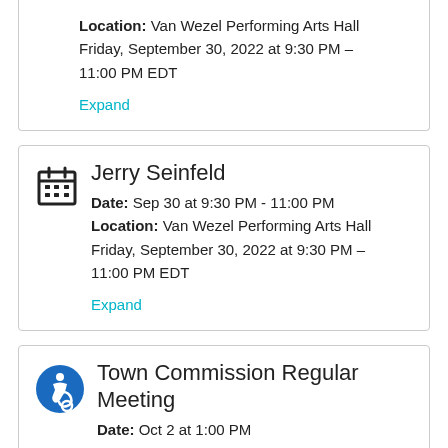Location: Van Wezel Performing Arts Hall
Friday, September 30, 2022 at 9:30 PM – 11:00 PM EDT
Expand
Jerry Seinfeld
Date: Sep 30 at 9:30 PM - 11:00 PM
Location: Van Wezel Performing Arts Hall
Friday, September 30, 2022 at 9:30 PM – 11:00 PM EDT
Expand
Town Commission Regular Meeting
Date: Oct 2 at 1:00 PM